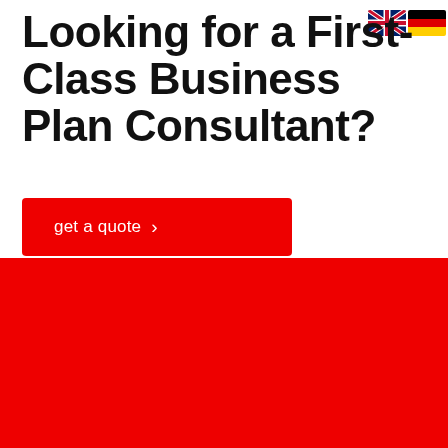Looking for a First-Class Business Plan Consultant?
[Figure (illustration): UK flag and German flag icons in the top-right corner of the title area]
get a quote ›
Pages
Main Menũ
Products
Catalog
Offer
Whatsapp